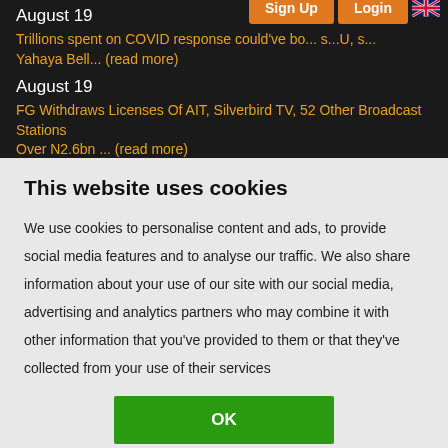August 19
Trillions spent on COVID response could've bo... s...U, s... Yahaya Bell... (read more)
August 19
FG Withdraws Licenses Of AIT, Silverbird TV, 52 Other Broadcast Stations Over N2.6bn ... (read more)
August 19
This website uses cookies
We use cookies to personalise content and ads, to provide social media features and to analyse our traffic. We also share information about your use of our site with our social media, advertising and analytics partners who may combine it with other information that you've provided to them or that they've collected from your use of their services
OK